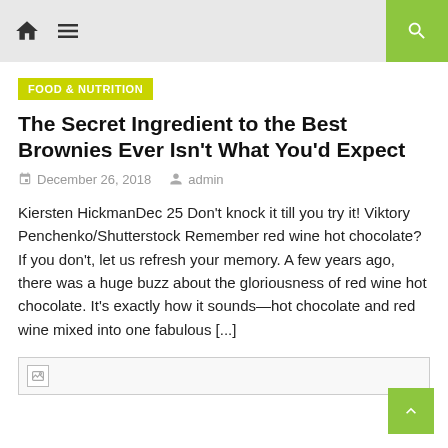Navigation bar with home icon, menu icon, and search button
FOOD & NUTRITION
The Secret Ingredient to the Best Brownies Ever Isn't What You'd Expect
December 26, 2018   admin
Kiersten HickmanDec 25 Don't knock it till you try it! Viktory Penchenko/Shutterstock Remember red wine hot chocolate? If you don't, let us refresh your memory. A few years ago, there was a huge buzz about the gloriousness of red wine hot chocolate. It's exactly how it sounds—hot chocolate and red wine mixed into one fabulous [...]
[Figure (photo): Broken image placeholder at the bottom of the article]